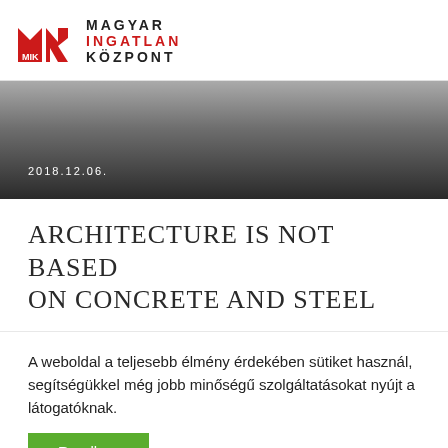[Figure (logo): Magyar Ingatlan Központ (MIK) logo with red geometric building icon and text]
[Figure (photo): Gray gradient banner image with date text 2018.12.06.]
ARCHITECTURE IS NOT BASED ON CONCRETE AND STEEL
A weboldal a teljesebb élmény érdekében sütiket használ, segítségükkel még jobb minőségű szolgáltatásokat nyújt a látogatóknak.
Rendben